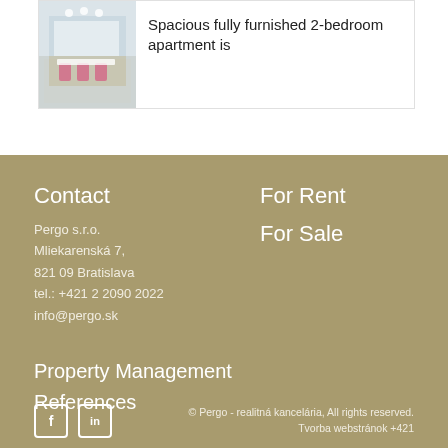[Figure (photo): Listing card showing interior of a spacious fully furnished apartment with white walls, dining chairs in pink/magenta, modern kitchen visible in background]
Spacious fully furnished 2-bedroom apartment is
Contact
Pergo s.r.o.
Mliekarenská 7,
821 09 Bratislava
tel.: +421 2 2090 2022
info@pergo.sk
For Rent
For Sale
Property Management
References
© Pergo - realitná kancelária, All rights reserved.
Tvorba webstránok +421